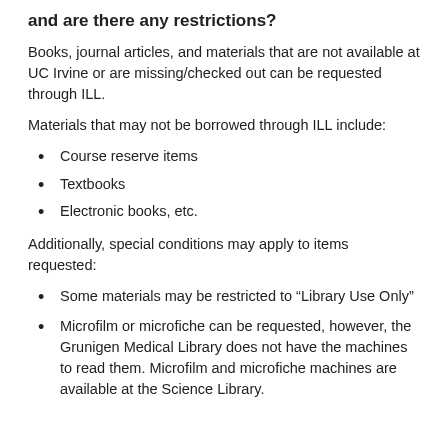and are there any restrictions?
Books, journal articles, and materials that are not available at UC Irvine or are missing/checked out can be requested through ILL.
Materials that may not be borrowed through ILL include:
Course reserve items
Textbooks
Electronic books, etc.
Additionally, special conditions may apply to items requested:
Some materials may be restricted to “Library Use Only”
Microfilm or microfiche can be requested, however, the Grunigen Medical Library does not have the machines to read them. Microfilm and microfiche machines are available at the Science Library.